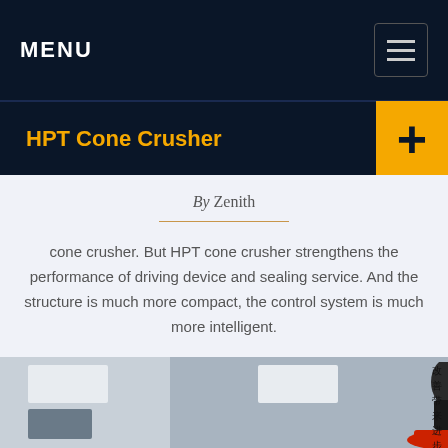MENU
HPT Cone Crusher
By Zenith
cone crusher. But HPT cone crusher strengthens the performance of driving device and sealing service. And the structure is much more compact, the control system is much more intelligent.
[Figure (photo): Photo of HPT Cone Crusher machine in industrial facility with metal framework, lighting panels, and Chinese text on right side]